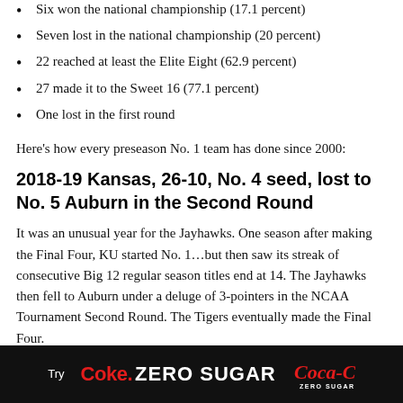Six won the national championship (17.1 percent)
Seven lost in the national championship (20 percent)
22 reached at least the Elite Eight (62.9 percent)
27 made it to the Sweet 16 (77.1 percent)
One lost in the first round
Here's how every preseason No. 1 team has done since 2000:
2018-19 Kansas, 26-10, No. 4 seed, lost to No. 5 Auburn in the Second Round
It was an unusual year for the Jayhawks. One season after making the Final Four, KU started No. 1…but then saw its streak of consecutive Big 12 regular season titles end at 14. The Jayhawks then fell to Auburn under a deluge of 3-pointers in the NCAA Tournament Second Round. The Tigers eventually made the Final Four.
[Figure (other): Coca-Cola Zero Sugar advertisement banner on black background]